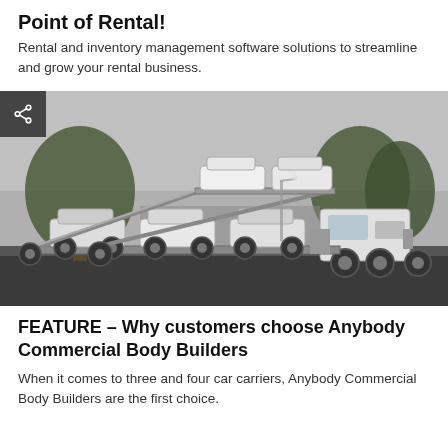Point of Rental!
Rental and inventory management software solutions to streamline and grow your rental business.
[Figure (photo): A car carrier truck loaded with multiple white vehicles on a two-level auto transport trailer, parked in a lot with trees in the background. A share button icon is overlaid in the top-left corner.]
FEATURE – Why customers choose Anybody Commercial Body Builders
When it comes to three and four car carriers, Anybody Commercial Body Builders are the first choice.